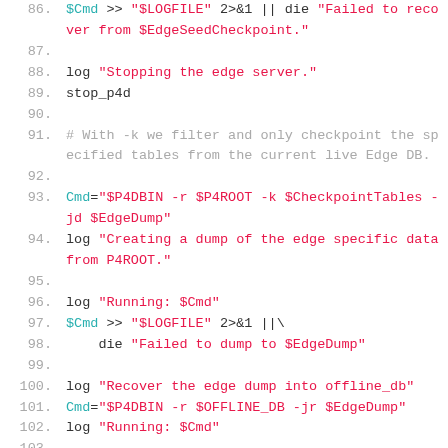86. $Cmd >> "$LOGFILE" 2>&1 || die "Failed to recover from $EdgeSeedCheckpoint."
87.
88. log "Stopping the edge server."
89. stop_p4d
90.
91. # With -k we filter and only checkpoint the specified tables from the current live Edge DB.
92.
93. Cmd="$P4DBIN -r $P4ROOT -k $CheckpointTables -jd $EdgeDump"
94. log "Creating a dump of the edge specific data from P4ROOT."
95.
96. log "Running: $Cmd"
97. $Cmd >> "$LOGFILE" 2>&1 ||\
98.     die "Failed to dump to $EdgeDump"
99.
100. log "Recover the edge dump into offline_db"
101. Cmd="$P4DBIN -r $OFFLINE_DB -jr $EdgeDump"
102. log "Running: $Cmd"
103.